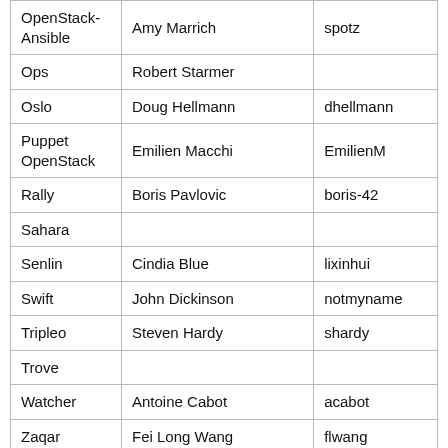| OpenStack-Ansible | Amy Marrich | spotz |
| Ops | Robert Starmer |  |
| Oslo | Doug Hellmann | dhellmann |
| Puppet OpenStack | Emilien Macchi | EmilienM |
| Rally | Boris Pavlovic | boris-42 |
| Sahara |  |  |
| Senlin | Cindia Blue | lixinhui |
| Swift | John Dickinson | notmyname |
| Tripleo | Steven Hardy | shardy |
| Trove |  |  |
| Watcher | Antoine Cabot | acabot |
| Zaqar | Fei Long Wang | flwang |
Stable Branch
The Stable Branch Liaison is responsible for making sure backports are proposed for critical issues in their project, and